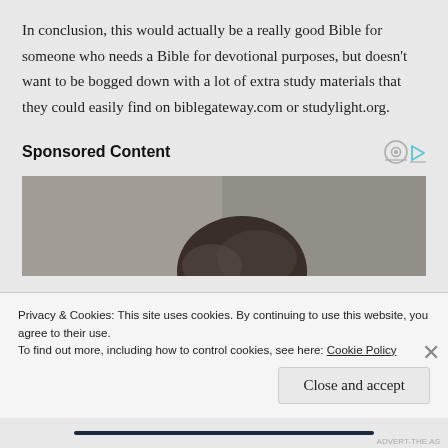In conclusion, this would actually be a really good Bible for someone who needs a Bible for devotional purposes, but doesn't want to be bogged down with a lot of extra study materials that they could easily find on biblegateway.com or studylight.org.
Sponsored Content
[Figure (photo): Photograph of a person looking upward, cropped to show top of head and background]
Privacy & Cookies: This site uses cookies. By continuing to use this website, you agree to their use.
To find out more, including how to control cookies, see here: Cookie Policy
Close and accept